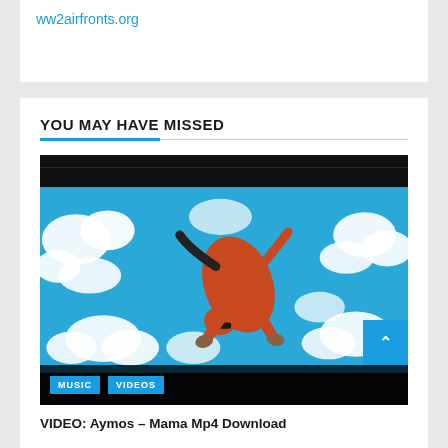ww2airfronts.org
YOU MAY HAVE MISSED
[Figure (photo): A person wearing a shiny red/orange outfit lying on a blue surface surrounded by white cloud-like shapes, viewed from above. Two tag buttons: MUSIC and VIDEOS overlaid at bottom.]
VIDEO: Aymos – Mama Mp4 Download